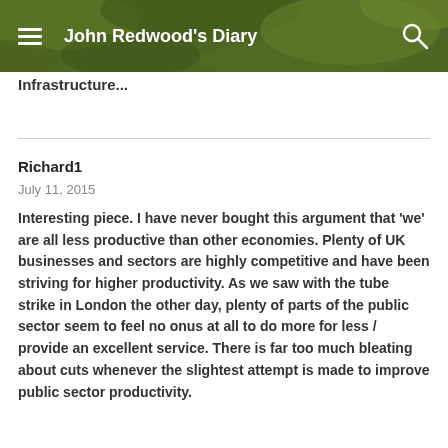John Redwood's Diary
Infrastructure...
Richard1
July 11, 2015
Interesting piece. I have never bought this argument that 'we' are all less productive than other economies. Plenty of UK businesses and sectors are highly competitive and have been striving for higher productivity. As we saw with the tube strike in London the other day, plenty of parts of the public sector seem to feel no onus at all to do more for less / provide an excellent service. There is far too much bleating about cuts whenever the slightest attempt is made to improve public sector productivity.